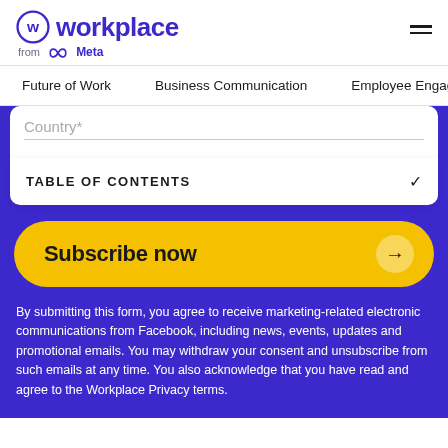[Figure (logo): Workplace from Meta logo — circular W icon in purple, text 'workplace' in bold purple, 'from Meta' below in gray with Meta infinity symbol]
Future of Work   Business Communication   Employee Engage
Country*
TABLE OF CONTENTS
Subscribe now →
By submitting this form, you agree to receive marketing-related electronic communications from Facebook, including news, events, updates and promotional emails. You may withdraw your consent and unsubscribe from such emails at any time. You also acknowledge that you have read and agree to the Workplace Privacy terms.